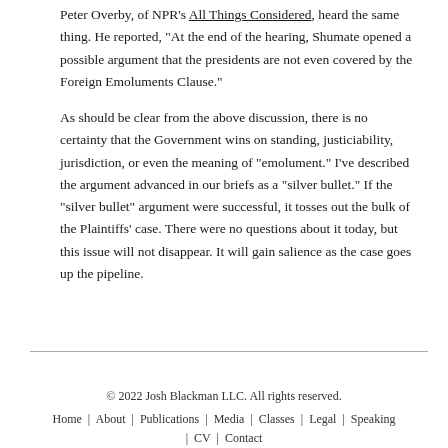Peter Overby, of NPR's All Things Considered, heard the same thing. He reported, "At the end of the hearing, Shumate opened a possible argument that the presidents are not even covered by the Foreign Emoluments Clause."
As should be clear from the above discussion, there is no certainty that the Government wins on standing, justiciability, jurisdiction, or even the meaning of "emolument." I've described the argument advanced in our briefs as a "silver bullet." If the "silver bullet" argument were successful, it tosses out the bulk of the Plaintiffs' case. There were no questions about it today, but this issue will not disappear. It will gain salience as the case goes up the pipeline.
© 2022 Josh Blackman LLC. All rights reserved.
Home | About | Publications | Media | Classes | Legal | Speaking | CV | Contact